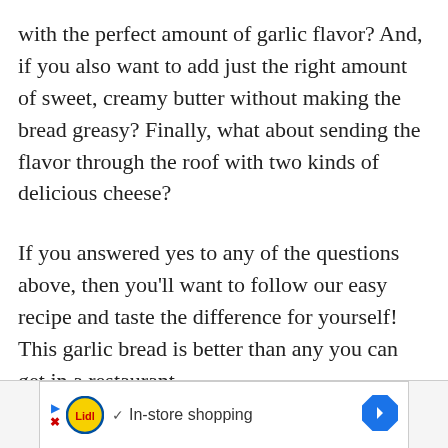with the perfect amount of garlic flavor? And, if you also want to add just the right amount of sweet, creamy butter without making the bread greasy? Finally, what about sending the flavor through the roof with two kinds of delicious cheese?
If you answered yes to any of the questions above, then you'll want to follow our easy recipe and taste the difference for yourself! This garlic bread is better than any you can get in a restaurant.
[Figure (other): Advertisement banner for Lidl showing logo, checkmark, 'In-store shopping' text, and a blue diamond navigation arrow icon]